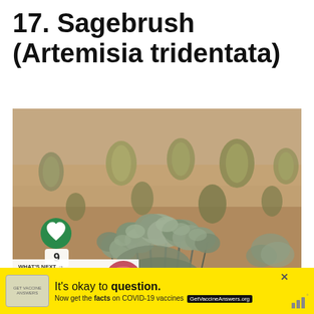17. Sagebrush (Artemisia tridentata)
[Figure (photo): Photograph of sagebrush (Artemisia tridentata) plants in a desert landscape with sandy/reddish-brown soil and sparse grassy plants in the background.]
WHAT'S NEXT → Garden Shrubs to...
It's okay to question. Now get the facts on COVID-19 vaccines GetVaccineAnswers.org